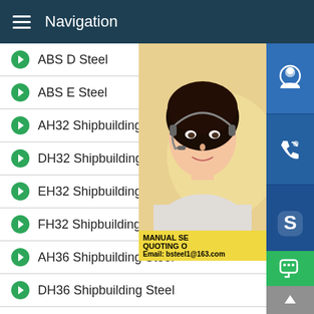Navigation
ABS D Steel
ABS E Steel
AH32 Shipbuilding Steel
DH32 Shipbuilding Steel
EH32 Shipbuilding Steel
FH32 Shipbuilding Steel
AH36 Shipbuilding Steel
DH36 Shipbuilding Steel
EH36 Shipbuilding Steel
FH36 Shipbuilding Steel
AH40 Shipbuilding Steel
[Figure (photo): Customer service representative woman with headset, with contact information overlay: MANUAL SE, QUOTING O, Email: bsteel1@163.com. Blue sidebar icons for chat/phone/Skype.]